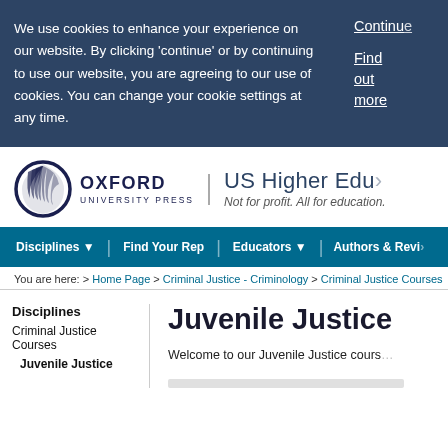We use cookies to enhance your experience on our website. By clicking 'continue' or by continuing to use our website, you are agreeing to our use of cookies. You can change your cookie settings at any time.
Continue
Find out more
[Figure (logo): Oxford University Press logo with circular feather emblem and text 'OXFORD UNIVERSITY PRESS']
US Higher Education
Not for profit. All for education.
Disciplines ▼ | Find Your Rep | Educators ▼ | Authors & Reviewers
You are here: > Home Page > Criminal Justice - Criminology > Criminal Justice Courses
Disciplines
Criminal Justice Courses
Juvenile Justice
Juvenile Justice
Welcome to our Juvenile Justice cours